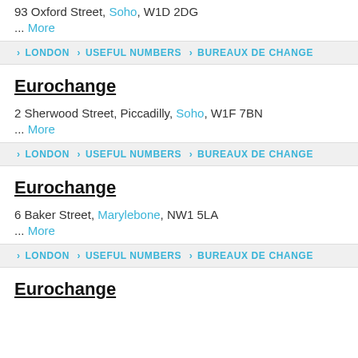93 Oxford Street, Soho, W1D 2DG
... More
› LONDON › USEFUL NUMBERS › BUREAUX DE CHANGE
Eurochange
2 Sherwood Street, Piccadilly, Soho, W1F 7BN
... More
› LONDON › USEFUL NUMBERS › BUREAUX DE CHANGE
Eurochange
6 Baker Street, Marylebone, NW1 5LA
... More
› LONDON › USEFUL NUMBERS › BUREAUX DE CHANGE
Eurochange